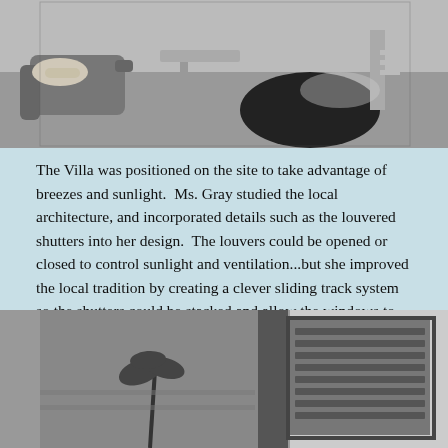[Figure (photo): Black and white photograph showing interior space with lounge chair and circular opening in floor with sunlight]
The Villa was positioned on the site to take advantage of breezes and sunlight.  Ms. Gray studied the local architecture, and incorporated details such as the louvered shutters into her design.  The louvers could be opened or closed to control sunlight and ventilation...but she improved the local tradition by creating a clever sliding track system so the shutters could be stacked and allow the windows to be totally open and uncovered.
[Figure (photo): Black and white photograph showing exterior louvered shutters on a building, with palm tree reflection visible in left panel]